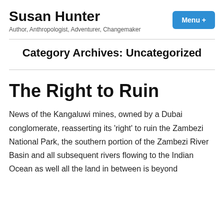Susan Hunter
Author, Anthropologist, Adventurer, Changemaker
Category Archives: Uncategorized
The Right to Ruin
News of the Kangaluwi mines, owned by a Dubai conglomerate, reasserting its 'right' to ruin the Zambezi National Park, the southern portion of the Zambezi River Basin and all subsequent rivers flowing to the Indian Ocean as well all the land in between is beyond